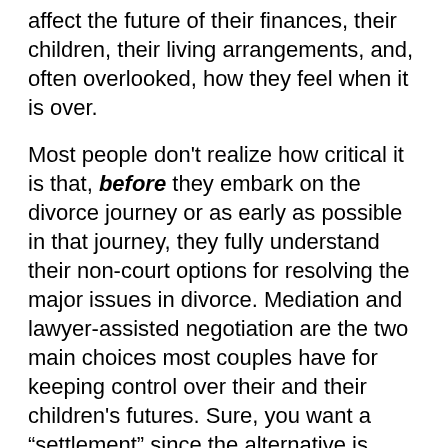affect the future of their finances, their children, their living arrangements, and, often overlooked, how they feel when it is over.
Most people don't realize how critical it is that, before they embark on the divorce journey or as early as possible in that journey, they fully understand their non-court options for resolving the major issues in divorce. Mediation and lawyer-assisted negotiation are the two main choices most couples have for keeping control over their and their children's futures. Sure, you want a “settlement” since the alternative is having a judge decide key issues about your money and your children, but a process whose primary objective is a “settlement” — typically, a signed “Custody and Parenting Plan” and/or “Property Settlement Agreement” — is not what most people facing the